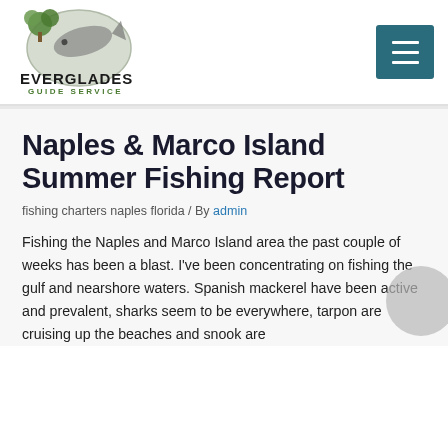[Figure (logo): Everglades Guide Service logo with tree and fish illustration]
Naples & Marco Island Summer Fishing Report
fishing charters naples florida / By admin
Fishing the Naples and Marco Island area the past couple of weeks has been a blast. I've been concentrating on fishing the gulf and nearshore waters. Spanish mackerel have been active and prevalent, sharks seem to be everywhere, tarpon are cruising up the beaches and snook are